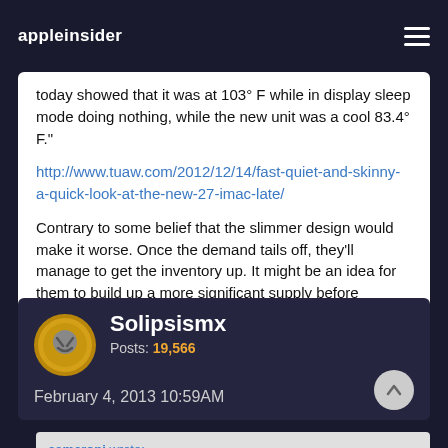appleinsider
today showed that it was at 103° F while in display sleep mode doing nothing, while the new unit was a cool 83.4° F."
http://www.tuaw.com/2012/12/14/fast-quiet-and-skinny-a-quick-look-at-the-new-27-imac-late/
Contrary to some belief that the slimmer design would make it worse. Once the demand tails off, they'll manage to get the inventory up. It might be an idea for them to build up a more significant supply before announcing the product in future but as we know that risks the product leaks.
Solipsismx
Posts: 19,566
February 4, 2013 10:59AM
cameronj wrote: »
You know how I know you're wrong? This sentence